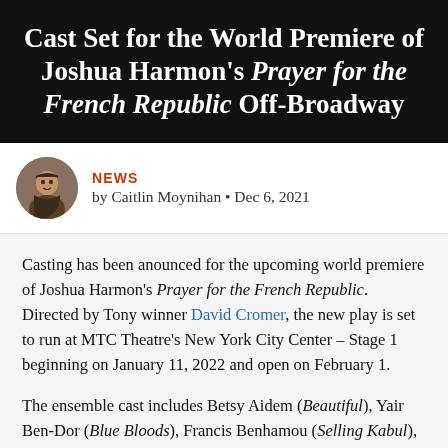Cast Set for the World Premiere of Joshua Harmon's Prayer for the French Republic Off-Broadway
NEWS by Caitlin Moynihan • Dec 6, 2021
Casting has been anounced for the upcoming world premiere of Joshua Harmon's Prayer for the French Republic. Directed by Tony winner David Cromer, the new play is set to run at MTC Theatre's New York City Center – Stage 1 beginning on January 11, 2022 and open on February 1.
The ensemble cast includes Betsy Aidem (Beautiful), Yair Ben-Dor (Blue Bloods), Francis Benhamou (Selling Kabul), Ari Brand (The Neil Simon Plays), Pierre Epstein (Plenty), Peyton Lusk (Falsettos), Molly Ranson (August: Osage